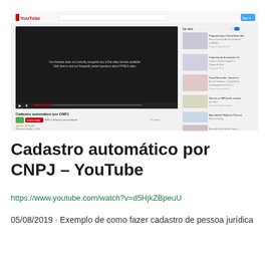[Figure (screenshot): Screenshot of a YouTube page showing a video titled 'Cadastro automático por CNPJ' with a dark video player area displaying a browser compatibility message, video metadata, and a sidebar with related video thumbnails.]
Cadastro automático por CNPJ – YouTube
https://www.youtube.com/watch?v=d5HjkZBpeuU
05/08/2019  · Exemplo de como fazer cadastro de pessoa jurídica